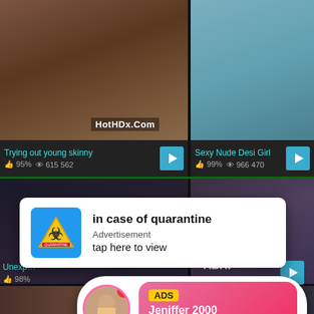[Figure (screenshot): Video thumbnail grid showing adult content website with two rows of thumbnails, advertisement popup and live chat notification overlay]
HotHDx.Com
Trying out young skinny
95%  615 562
Sexy Nude Desi Girl
99%  966 470
in case of quarantine
Advertisement
tap here to view
ADS
Jeniffer 2000
(00:12)
Unexplored
98%
Shilpa
BHI